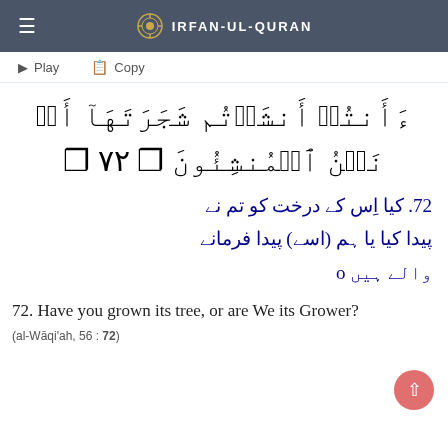IRFAN-UL-QURAN
Play   Copy
Arabic Quranic verse (al-Waqi'ah 56:72) in Arabic script
72. کیا اس کے درخت کو تم نے پیدا کیا یا ہم (اسے) پیدا فرمانے والے ہیں o
72. Have you grown its tree, or are We its Grower?
(al-Wāqi'ah, 56 : 72)